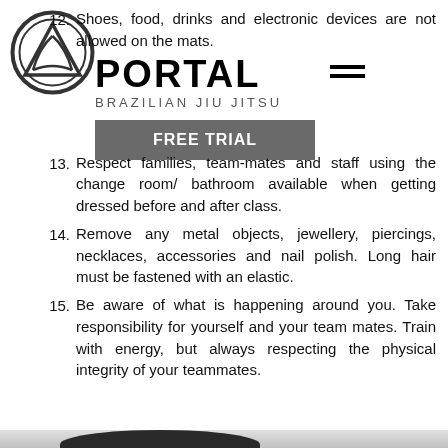[Figure (logo): Portal Brazilian Jiu Jitsu logo: circular emblem with triangle and wing symbol, black and white. Brand name PORTAL in bold with subtitle BRAZILIAN JIU JITSU beneath. Hamburger menu icon to the right.]
12. Shoes, food, drinks and electronic devices are not allowed on the mats.
13. Respect families, team-mates and staff using the change room/ bathroom available when getting dressed before and after class.
14. Remove any metal objects, jewellery, piercings, necklaces, accessories and nail polish. Long hair must be fastened with an elastic.
15. Be aware of what is happening around you. Take responsibility for yourself and your team mates. Train with energy, but always respecting the physical integrity of your teammates.